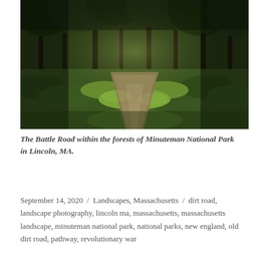[Figure (photo): A forested dirt path (The Battle Road) winding into the distance through lush green trees and grass, photographed at Minuteman National Park in Lincoln, MA.]
The Battle Road within the forests of Minuteman National Park in Lincoln, MA.
September 14, 2020 / Landscapes, Massachusetts / dirt road, landscape photography, lincoln ma, massachusetts, massachusetts landscape, minuteman national park, national parks, new england, old dirt road, pathway, revolutionary war